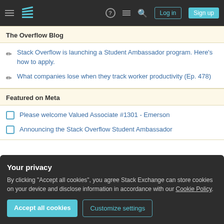Stack Overflow navigation bar with Log in and Sign up buttons
The Overflow Blog
Stack Overflow is launching a Student Ambassador program. Here's how to apply.
What companies lose when they track worker productivity (Ep. 478)
Featured on Meta
Please welcome Valued Associate #1301 - Emerson
Announcing the Stack Overflow Student Ambassador
Your privacy
By clicking "Accept all cookies", you agree Stack Exchange can store cookies on your device and disclose information in accordance with our Cookie Policy.
Accept all cookies | Customize settings